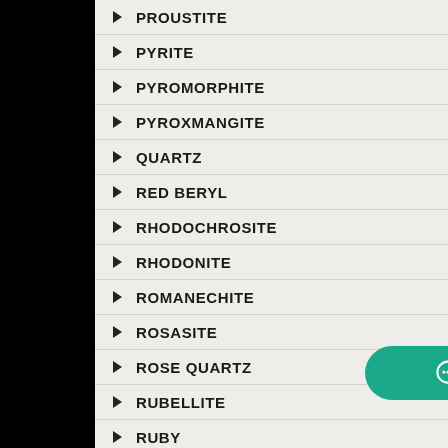PROUSTITE
PYRITE
PYROMORPHITE
PYROXMANGITE
QUARTZ
RED BERYL
RHODOCHROSITE
RHODONITE
ROMANECHITE
ROSASITE
ROSE QUARTZ
RUBELLITE
RUBY
RUTILE
SAPPHIRE
Chat with shop